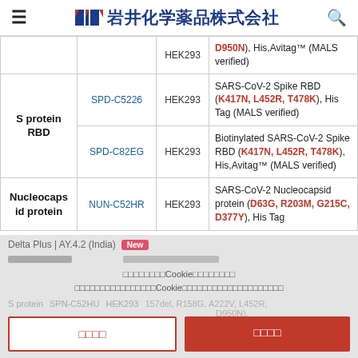岩井化学薬品株式会社
| Protein | Cat# | Host | Description |
| --- | --- | --- | --- |
|  |  | HEK293 | D950N), His,Avitag™ (MALS verified) |
| S protein RBD | SPD-C5226 | HEK293 | SARS-CoV-2 Spike RBD (K417N, L452R, T478K), His Tag (MALS verified) |
| S protein RBD | SPD-C82EG | HEK293 | Biotinylated SARS-CoV-2 Spike RBD (K417N, L452R, T478K), His,Avitag™ (MALS verified) |
| Nucleocapsid protein | NUN-C52HR | HEK293 | SARS-CoV-2 Nucleocapsid protein (D63G, R203M, G215C, D377Y), His Tag |
Delta Plus | AY.4.2 (India) [New]
Cookie consent overlay dialog with accept/decline buttons